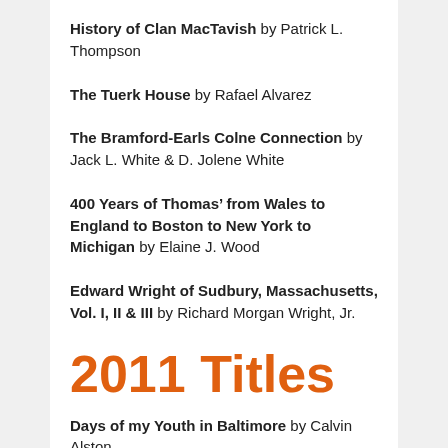History of Clan MacTavish by Patrick L. Thompson
The Tuerk House by Rafael Alvarez
The Bramford-Earls Colne Connection by Jack L. White & D. Jolene White
400 Years of Thomas’ from Wales to England to Boston to New York to Michigan by Elaine J. Wood
Edward Wright of Sudbury, Massachusetts, Vol. I, II & III by Richard Morgan Wright, Jr.
2011 Titles
Days of my Youth in Baltimore by Calvin Alston